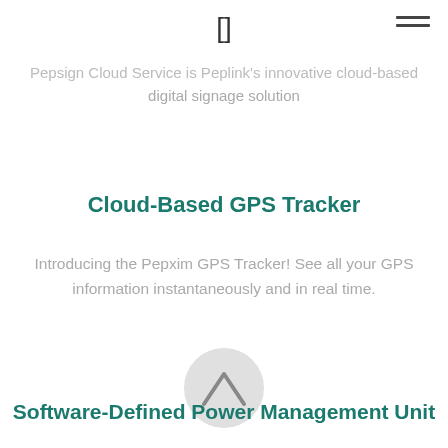[ navigation icon and hamburger menu ]
Pepsign Cloud Service is Peplink's innovative cloud-based digital signage solution
Cloud-Based GPS Tracker
Introducing the Pepxim GPS Tracker! See all your GPS information instantaneously and in real time.
[Figure (illustration): Gray circular icon with an upward chevron/arrow symbol]
Software-Defined Power Management Unit